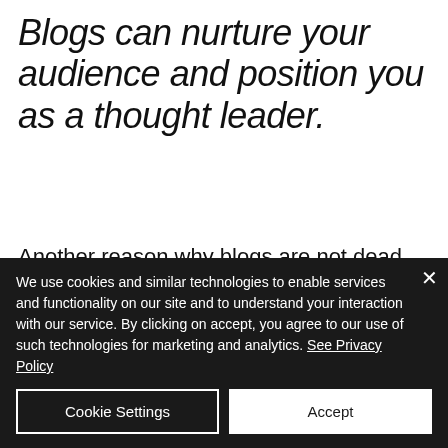Blogs can nurture your audience and position you as a thought leader.
Another reason why blogs are not dead is that although social media can be a great place to start the conversation if you want to go in-depth about a concept or show photos and diagrams, a blog may
We use cookies and similar technologies to enable services and functionality on our site and to understand your interaction with our service. By clicking on accept, you agree to our use of such technologies for marketing and analytics. See Privacy Policy